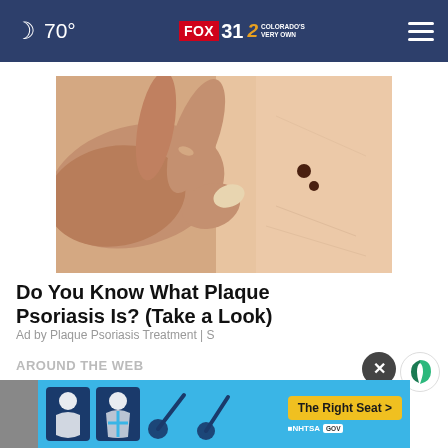70° FOX31 2 COLORADO'S VERY OWN
[Figure (photo): Close-up photo of a hand touching skin with dark moles/psoriasis spots]
Do You Know What Plaque Psoriasis Is? (Take a Look)
Ad by Plaque Psoriasis Treatment | S
AROUND THE WEB
[Figure (screenshot): NHTSA 'The Right Seat' advertisement banner with car seat safety icons on blue background]